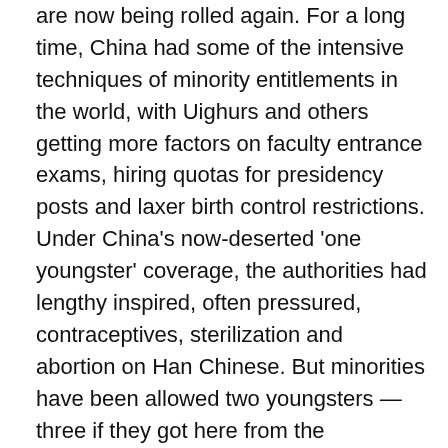are now being rolled again. For a long time, China had some of the intensive techniques of minority entitlements in the world, with Uighurs and others getting more factors on faculty entrance exams, hiring quotas for presidency posts and laxer birth control restrictions. Under China's now-deserted 'one youngster' coverage, the authorities had lengthy inspired, often pressured, contraceptives, sterilization and abortion on Han Chinese. But minorities have been allowed two youngsters — three if they got here from the countryside. Chinese officials have mentioned prior to now that the brand new measures are merely meant to be honest, allowing both Han Chinese and ethnic minorities the identical variety of youngsters.
In 2018, China had 280 males aged 15–29 for every one hundred females of that age, or